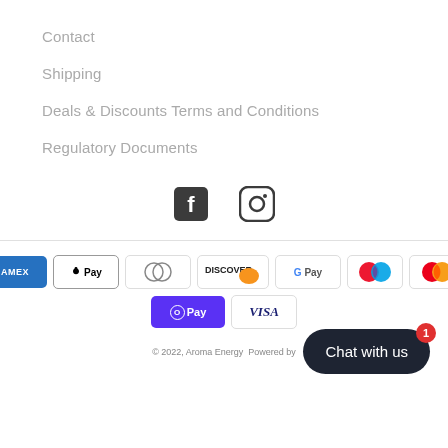Contact
Shipping
Deals & Discounts Terms and Conditions
Regulatory Documents
[Figure (illustration): Social media icons: Facebook and Instagram]
[Figure (infographic): Payment method logos: American Express, Apple Pay, Diners Club, Discover, Google Pay, Maestro, Mastercard, O Pay, Visa]
© 2022, Aroma Energy  Powered by
Chat with us